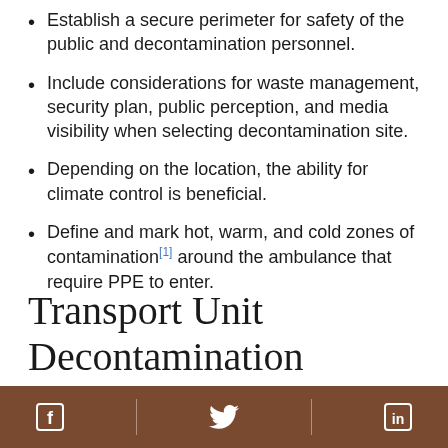Establish a secure perimeter for safety of the public and decontamination personnel.
Include considerations for waste management, security plan, public perception, and media visibility when selecting decontamination site.
Depending on the location, the ability for climate control is beneficial.
Define and mark hot, warm, and cold zones of contamination[1] around the ambulance that require PPE to enter.
Transport Unit Decontamination
Facebook | Twitter | LinkedIn